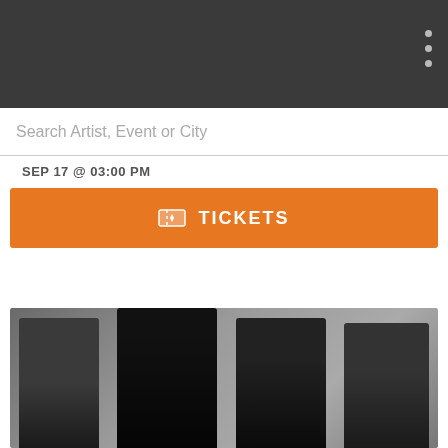SEP 17 @ 03:00 PM
[Figure (other): Orange TICKETS button with ticket icon]
[Figure (photo): Band photo with four members in dark makeup and costumes against a grey background]
We use cookies on our website to give you the most relevant experience by remembering your preferences and repeat visits. By clicking “Accept”, you consent to the use of ALL the cookies.
kie settings
ACCEPT